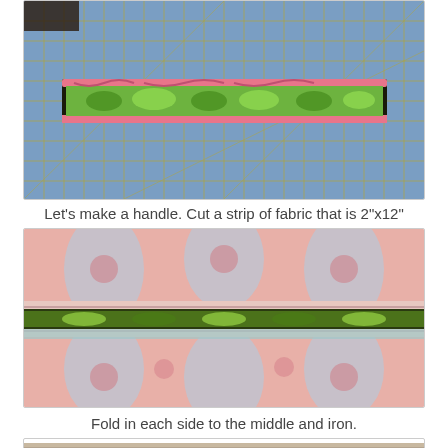[Figure (photo): Photo of a colorful green and pink patterned fabric strip laid on a blue cutting mat with yellow grid lines]
Let's make a handle. Cut a strip of fabric that is 2"x12"
[Figure (photo): Photo of a fabric strip with green and dark pattern folded against a pink and blue floral fabric background]
Fold in each side to the middle and iron.
[Figure (photo): Partial photo of fabric being ironed, showing a grid/window reflection on a surface]